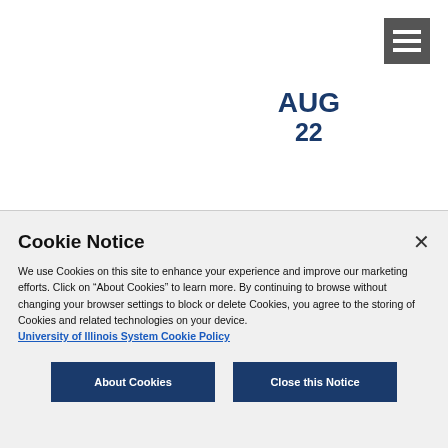[Figure (other): Hamburger menu button icon (three horizontal white lines on dark gray background) in top-right corner]
AUG
22
Cookie Notice
We use Cookies on this site to enhance your experience and improve our marketing efforts. Click on “About Cookies” to learn more. By continuing to browse without changing your browser settings to block or delete Cookies, you agree to the storing of Cookies and related technologies on your device.
University of Illinois System Cookie Policy
About Cookies
Close this Notice